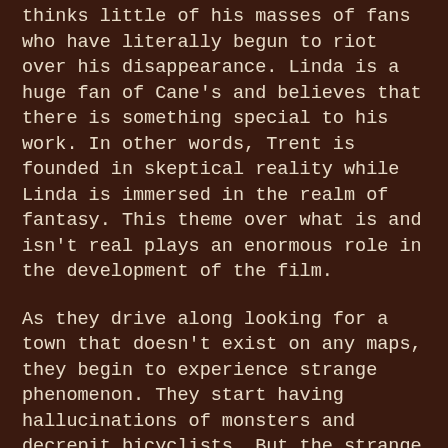thinks little of his masses of fans who have literally begun to riot over his disappearance. Linda is a huge fan of Cane's and believes that there is something special to his work. In other words, Trent is founded in skeptical reality while Linda is immersed in the realm of fantasy. This theme over what is and isn't real plays an enormous role in the development of the film.

As they drive along looking for a town that doesn't exist on any maps, they begin to experience strange phenomenon. They start having hallucinations of monsters and decrepit bicyclists. But the strange occurrences get even stronger when they miraculously find the town. It seems to be a quaint New England town that has been abandoned for fifty years. The white paint on the buildings is covered with cobwebs and dust and the streets and shops are devoid of people. But that even that changes when they start to see ghostly images of children and dogs running through the streets. When they arrive at their hotel, it becomes apparent that something is dreadfully wrong with the town as nobody has heard of Sutter Cane but everything seems to be straight out of his novels. It is as if they literally inhabit one of